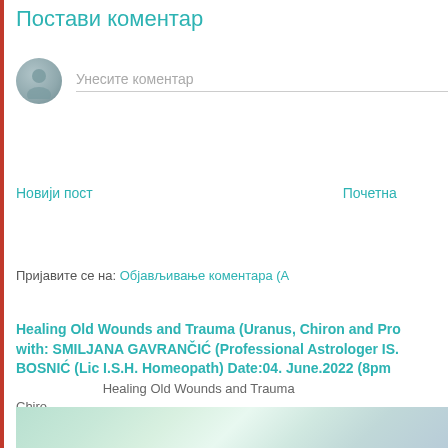Постави коментар
[Figure (illustration): User avatar placeholder circle with silhouette icon]
Унесите коментар
Новији пост
Почетна
Пријавите се на: Објављивање коментара (А
Healing Old Wounds and Trauma (Uranus, Chiron and Pro with: SMILJANA GAVRANČIĆ (Professional Astrologer IS. BOSNIĆ (Lic I.S.H. Homeopath) Date:04. June.2022 (8pm
Healing Old Wounds and Trauma
Chiro...
[Figure (photo): Soft pastel green and teal abstract background photo]